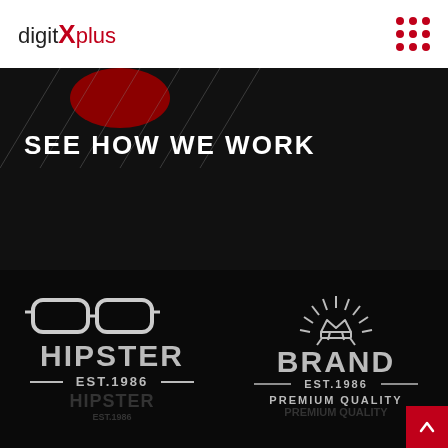digitXplus
SEE HOW WE WORK
[Figure (logo): Hipster logo: eyeglasses icon, text HIPSTER, EST.1986, on dark background]
[Figure (logo): Brand logo: sunburst with crown icon, text BRAND, EST.1986, PREMIUM QUALITY, on dark background]